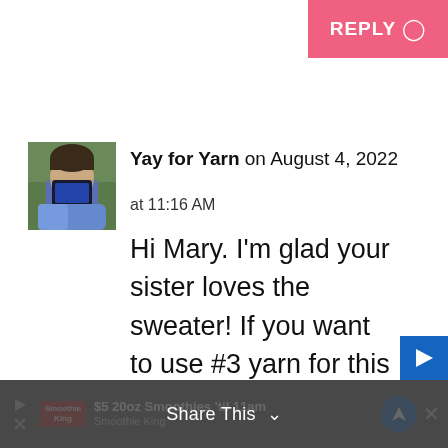[Figure (screenshot): Pink REPLY button with speech bubble icon in top-right corner]
[Figure (photo): Small square avatar photo of a person holding a phone/camera in front of their face, outdoors with green background]
Yay for Yarn on August 4, 2022
at 11:16 AM
Hi Mary. I'm glad your sister loves the sweater! If you want to use #3 yarn for this pattern, I would only recommend doing so if you have some experience altering patterns. If you
[Figure (screenshot): Gray scroll-to-top arrow button on right side]
[Figure (screenshot): Ad bar at bottom: $5 20oz Smoothies 'til 11am - Smoothie King, with Share This overlay and navigation/close icons]